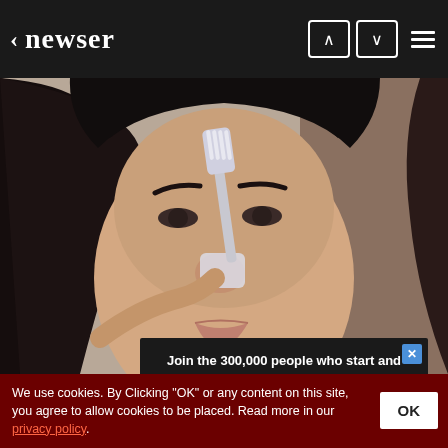< newser
[Figure (photo): Close-up photo of a young woman with dark hair applying what appears to be a pore strip or toothbrush to her nose area, beauty/skincare content]
Removing Moles & Skin Tags Has Never Been This Easy
Join the 300,000 people who start and end their day with newser newsletters
We use cookies. By Clicking "OK" or any content on this site, you agree to allow cookies to be placed. Read more in our privacy policy.